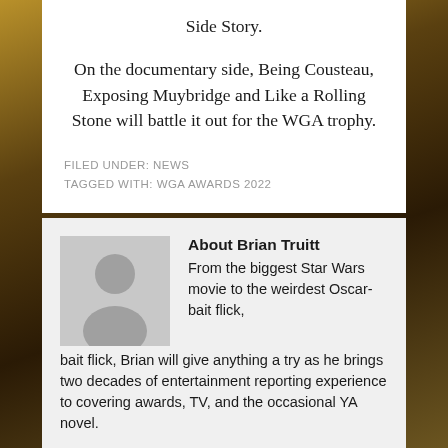Side Story.
On the documentary side, Being Cousteau, Exposing Muybridge and Like a Rolling Stone will battle it out for the WGA trophy.
FILED UNDER: NEWS
TAGGED WITH: WGA AWARDS 2022
About Brian Truitt
From the biggest Star Wars movie to the weirdest Oscar-bait flick, Brian will give anything a try as he brings two decades of entertainment reporting experience to covering awards, TV, and the occasional YA novel.